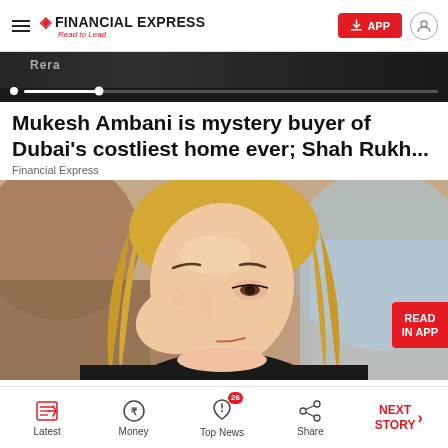FINANCIAL EXPRESS — Read to Lead
[Figure (screenshot): Video progress bar with dark background showing a partially played video]
Mukesh Ambani is mystery buyer of Dubai's costliest home ever; Shah Rukh...
Financial Express
[Figure (photo): A blonde woman with long hair rubbing her eye with one hand, looking distressed. Background shows a blurred outdoor scene.]
Latest | Money | Top News (26) | Share | NEXT STORY